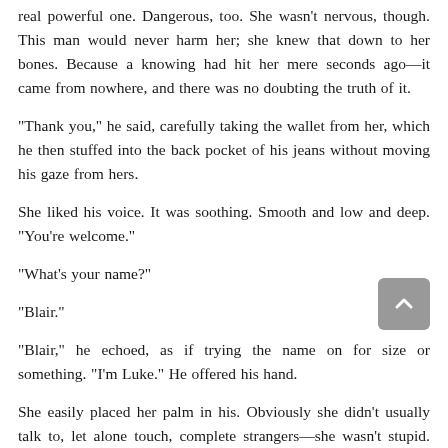real powerful one. Dangerous, too. She wasn't nervous, though. This man would never harm her; she knew that down to her bones. Because a knowing had hit her mere seconds ago—it came from nowhere, and there was no doubting the truth of it.
“Thank you,” he said, carefully taking the wallet from her, which he then stuffed into the back pocket of his jeans without moving his gaze from hers.
She liked his voice. It was soothing. Smooth and low and deep. “You’re welcome.”
“What’s your name?”
“Blair.”
“Blair,” he echoed, as if trying the name on for size or something. “I’m Luke.” He offered his hand.
She easily placed her palm in his. Obviously she didn’t usually talk to, let alone touch, complete strangers—she wasn’t stupid. But